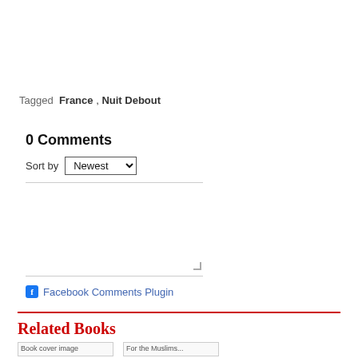Tagged  France , Nuit Debout
0 Comments
Sort by  Newest
[Figure (screenshot): Comment text input box with placeholder text 'Add a comment...']
Facebook Comments Plugin
Related Books